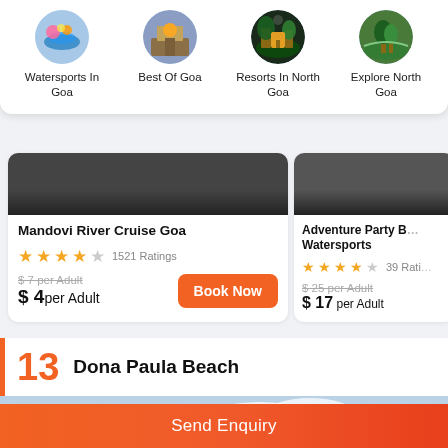[Figure (screenshot): Category navigation circles: Watersports In Goa, Best Of Goa, Resorts In North Goa, Explore North Goa]
Watersports In Goa
Best Of Goa
Resorts In North Goa
Explore North Goa
Mandovi River Cruise Goa
4 stars, 1521 Ratings
$ 7 per Adult (original), $ 4 per Adult (current)
Adventure Party Boat Watersports
4 stars, 39 Ratings
$ 25 per Adult (original), $ 17 per Adult (current)
13 Dona Paula Beach
[Figure (photo): Beach/seascape photo with blue sky and clouds]
Send Enquiry